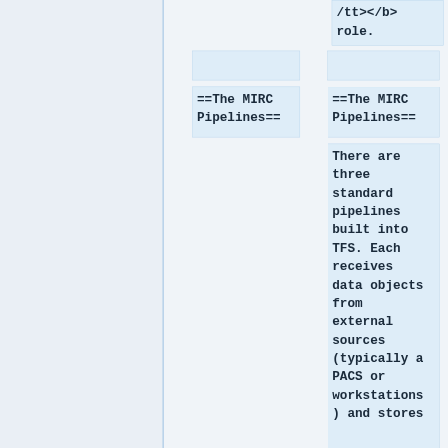/tt></b>
role.
==The MIRC Pipelines==
==The MIRC Pipelines==
There are three standard pipelines built into TFS. Each receives data objects from external sources (typically a PACS or workstations) and stores